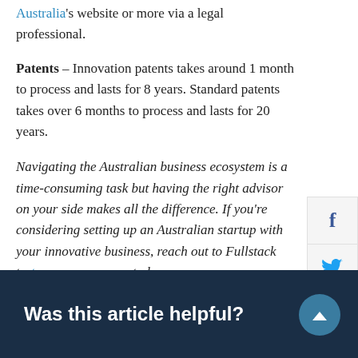Australia's website or more via a legal professional.
Patents – Innovation patents takes around 1 month to process and lasts for 8 years. Standard patents takes over 6 months to process and lasts for 20 years.
Navigating the Australian business ecosystem is a time-consuming task but having the right advisors on your side makes all the difference. If you're considering setting up an Australian startup with your innovative business, reach out to Fullstack to setup your company today.
[Figure (infographic): Social media sharing sidebar with Facebook, Twitter, and LinkedIn icons]
Was this article helpful?